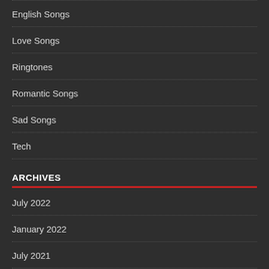English Songs
Love Songs
Ringtones
Romantic Songs
Sad Songs
Tech
ARCHIVES
July 2022
January 2022
July 2021
June 2021
May 2021
March 2021